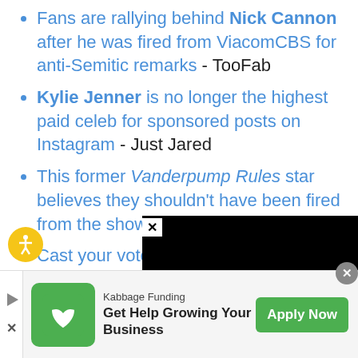Fans are rallying behind Nick Cannon after he was fired from ViacomCBS for anti-Semitic remarks - TooFab
Kylie Jenner is no longer the highest paid celeb for sponsored posts on Instagram - Just Jared
This former Vanderpump Rules star believes they shouldn't have been fired from the show - TooFab
Cast your votes for who you think
[Figure (screenshot): Advertisement banner for Kabbage Funding with green logo, text 'Get Help Growing Your Business', and 'Apply Now' green button]
[Figure (screenshot): Black video overlay panel with X close button in top-left and circle close button]